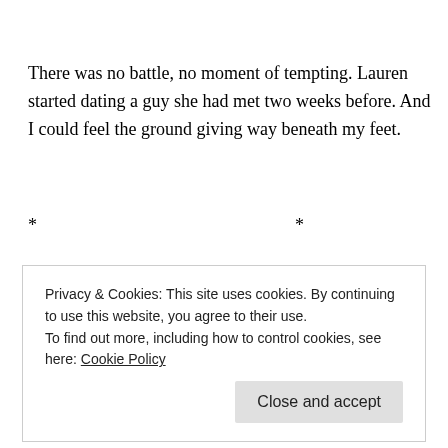There was no battle, no moment of tempting. Lauren started dating a guy she had met two weeks before. And I could feel the ground giving way beneath my feet.
* * *
On a quiet and warm afternoon near the end of that week, Booth
Privacy & Cookies: This site uses cookies. By continuing to use this website, you agree to their use.
To find out more, including how to control cookies, see here: Cookie Policy
Close and accept